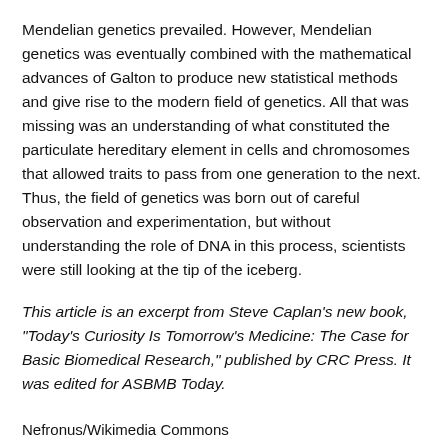Mendelian genetics prevailed. However, Mendelian genetics was eventually combined with the mathematical advances of Galton to produce new statistical methods and give rise to the modern field of genetics. All that was missing was an understanding of what constituted the particulate hereditary element in cells and chromosomes that allowed traits to pass from one generation to the next. Thus, the field of genetics was born out of careful observation and experimentation, but without understanding the role of DNA in this process, scientists were still looking at the tip of the iceberg.
This article is an excerpt from Steve Caplan's new book, "Today's Curiosity Is Tomorrow's Medicine: The Case for Basic Biomedical Research," published by CRC Press. It was edited for ASBMB Today.
Nefronus/Wikimedia Commons
Gregor Mendel studied these monogenic traits in his pea